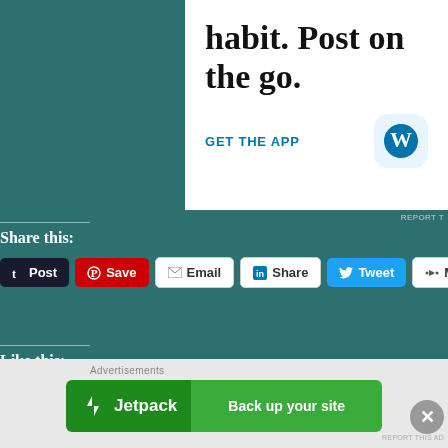[Figure (screenshot): WordPress mobile app advertisement with text 'habit. Post on the go.' and 'GET THE APP' link with WordPress icon]
REPORT T
Share this:
[Figure (screenshot): Social sharing buttons: Post (Tumblr), Save (Pinterest), Email, Share (LinkedIn), Tweet (Twitter), More]
Like this:
Loading
[Figure (screenshot): Jetpack advertisement banner: 'Jetpack — Back up your site']